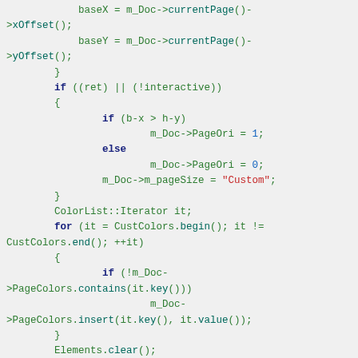baseX = m_Doc->currentPage()->xOffset();
            baseY = m_Doc->currentPage()->yOffset();
        }
        if ((ret) || (!interactive))
        {
                if (b-x > h-y)
                        m_Doc->PageOri = 1;
                else
                        m_Doc->PageOri = 0;
                m_Doc->m_pageSize = "Custom";
        }
        ColorList::Iterator it;
        for (it = CustColors.begin(); it != CustColors.end(); ++it)
        {
                if (!m_Doc->PageColors.contains(it.key()))
                        m_Doc->PageColors.insert(it.key(), it.value());
        }
        Elements.clear();
        m_Doc->view()->Deselect();
        m_Doc->setLoading(true);
        m_Doc->DoDrawing = false;
        m_Doc->view()->updateSp(false);